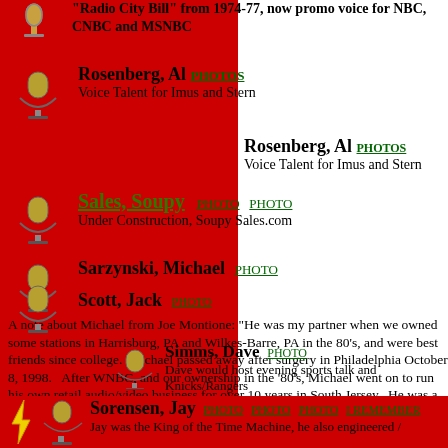"Radio City Bill" from 1974-77, now promo voice for NBC, CNBC and MSNBC
Rosenberg, Al PHOTOS - Voice Talent for Imus and Stern
Rosenberg, Al PHOTOS - Voice Talent for Imus and Stern
Sales, Soupy PHOTO PHOTO - Under Construction, Soupy Sales.com
Sarzynski, Michael PHOTO - A note about Michael from Joe Montione: "He was my partner when we owned some stations in Harrisburg, PA and Wilkes-Barre, PA in the 80's, and were best friends since college. Michael passed away after surgery in Philadelphia October 8, 1998. After WNBC, and our ownership in the '80's, Michael went on to run his own retail audio/video business for over 10 years in South Jersey. He was a great talent, and a wonderful friend & brother."
Scott, Jack PHOTO
Simms, Dave PHOTO - Dave would host evening sports talk and Knicks/Rangers
Sorensen, Jay PHOTO PHOTO PHOTO I REMEMBER - Jay was the King of the Time Machine, he also engineered /